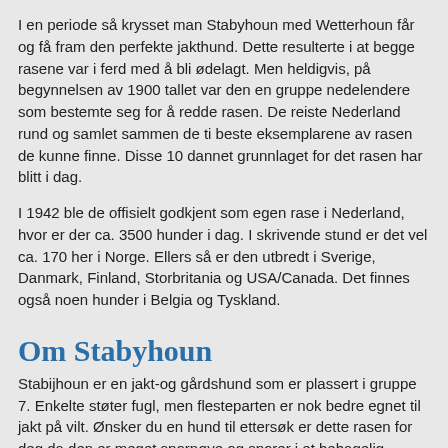I en periode så krysset man Stabyhoun med Wetterhoun får og få fram den perfekte jakthund. Dette resulterte i at begge rasene var i ferd med å bli ødelagt. Men heldigvis, på begynnelsen av 1900 tallet var den en gruppe nedelendere som bestemte seg for å redde rasen. De reiste Nederland rund og samlet sammen de ti beste eksemplarene av rasen de kunne finne. Disse 10 dannet grunnlaget for det rasen har blitt i dag.
I 1942 ble de offisielt godkjent som egen rase i Nederland, hvor er der ca. 3500 hunder i dag. I skrivende stund er det vel ca. 170 her i Norge. Ellers så er den utbredt i Sverige, Danmark, Finland, Storbritania og USA/Canada. Det finnes også noen hunder i Belgia og Tyskland.
Om Stabyhoun
Stabijhoun er en jakt-og gårdshund som er plassert i gruppe 7. Enkelte støter fugl, men flesteparten er nok bedre egnet til jakt på vilt. Ønsker du en hund til ettersøk er dette rasen for deg da den er meget spornøye og sporer i et behagelig tempo. Stabijhoun går for å være en allround, lettlært hund som kan brukes til det meste som agility, lydighet, bruks etc. De kan være ganske sta, så det gjelder å være kreativ for å finne ut hva som motiverer til videre jobbing. Rasen er veldig godt egnet som familiehund når den i tillegg får arbeidsoppgaver. I og med at Stabijhoun tidligere ble